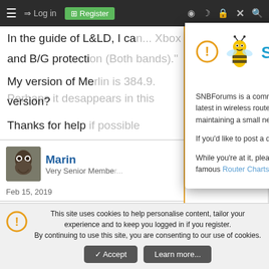≡  → Log in  Register
In the guide of L&LD, I ca... Xbox and B/G protection (Both bands)."
My version of Merlin is 384.9. Perhaps it desappears in this version?
Thanks for help if possible
[Figure (screenshot): SNBForums welcome modal dialog with bee mascot logo, welcome message, and site description]
Welcome To SNBForums
SNBForums is a community for anyone who wants to learn about or discuss the latest in wireless routers, network storage and the ins and outs of building and maintaining a small network.
If you'd like to post a question, simply register and have at it!
While you're at it, please check out SmallNetBuilder for product reviews and our famous Router Charts, Ranker and plenty more!
Marin
Very Senior Member
Feb 15, 2019
You can no longer remove that check on this version - only
This site uses cookies to help personalise content, tailor your experience and to keep you logged in if you register.
By continuing to use this site, you are consenting to our use of cookies.